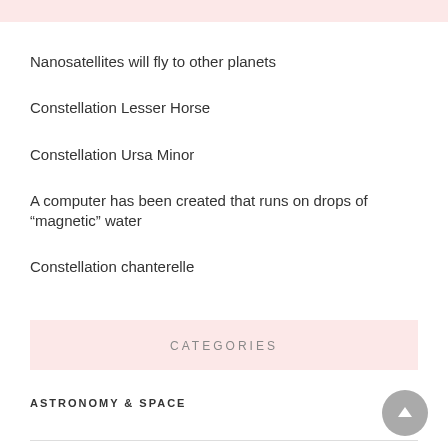Nanosatellites will fly to other planets
Constellation Lesser Horse
Constellation Ursa Minor
A computer has been created that runs on drops of “magnetic” water
Constellation chanterelle
CATEGORIES
ASTRONOMY & SPACE